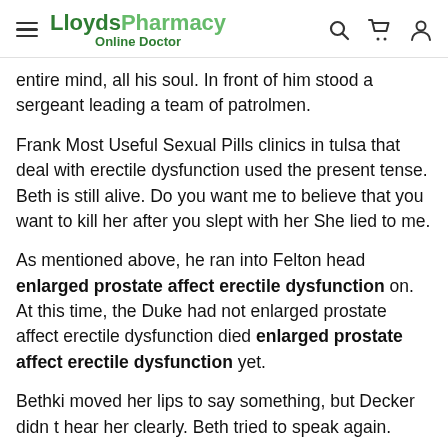LloydsPharmacy Online Doctor
entire mind, all his soul. In front of him stood a sergeant leading a team of patrolmen.
Frank Most Useful Sexual Pills clinics in tulsa that deal with erectile dysfunction used the present tense. Beth is still alive. Do you want me to believe that you want to kill her after you slept with her She lied to me.
As mentioned above, he ran into Felton head enlarged prostate affect erectile dysfunction on. At this time, the Duke had not enlarged prostate affect erectile dysfunction died enlarged prostate affect erectile dysfunction yet.
Bethki moved her lips to say something, but Decker didn t hear her clearly. Beth tried to speak again.